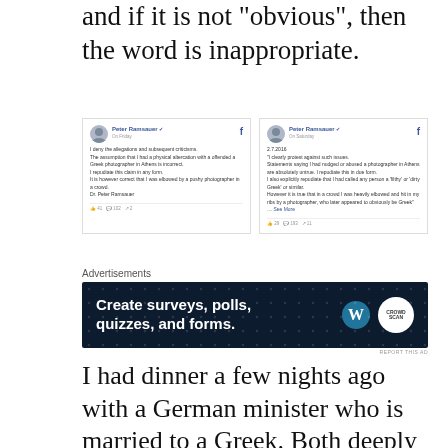and if it is not “obvious”, then the word is inappropriate.
[Figure (screenshot): Two Facebook posts by Peter Ramsauer. Left post (Friday): denies allegations about physical altercation with Greek photographer in Athens. Right post (Saturday, 2.7.2016): protests against accusations of nudging/abusing a photographer, explicitly repudiates calling anyone 'filthy' or 'dirty Greek'.]
[Figure (infographic): Advertisement banner: 'Create surveys, polls, quizzes, and forms.' with WordPress and CrowdScan logos on dark navy background with dot pattern.]
I had dinner a few nights ago with a German minister who is married to a Greek. Both deeply charming! I wonder how Herr Ramsauer deals with that couple in the vaulted corridors of the Reichstag? The story of this exchange makes